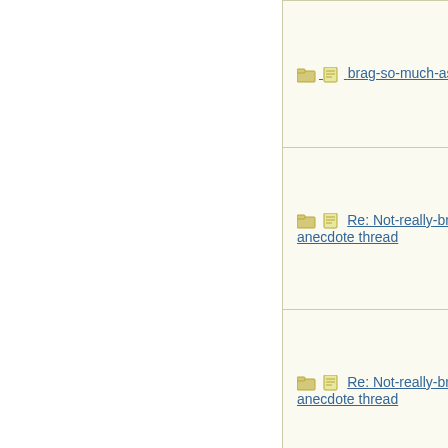| Subject | Author |
| --- | --- |
| Re: Not-really-brag-so-much-as-quirky-anecdote thread | Elizabeth |
| Re: Not-really-brag-so-much-as-quirky-anecdote thread | HowlerKa |
| Re: Not-really-brag-so-much-as-quirky-anecdote thread | doubtfulg |
| Re: Not-really-brag-so-much-as-quirky-anecdote thread | HowlerKa |
| Re: Not-really-brag-so-much-as-quirky-anecdote thread | Lovemyd |
| Re: Not-really-brag-so-much-as-quirky-anecdote thread | aquinas |
| Re: Not-really-brag-so-much-as-quirky-anecdote thread | MbaMom |